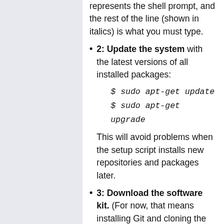represents the shell prompt, and the rest of the line (shown in italics) is what you must type.
2: Update the system with the latest versions of all installed packages: $ sudo apt-get update $ sudo apt-get upgrade This will avoid problems when the setup script installs new repositories and packages later.
3: Download the software kit. (For now, that means installing Git and cloning the Git repository as follows.) $ sudo apt-get install git